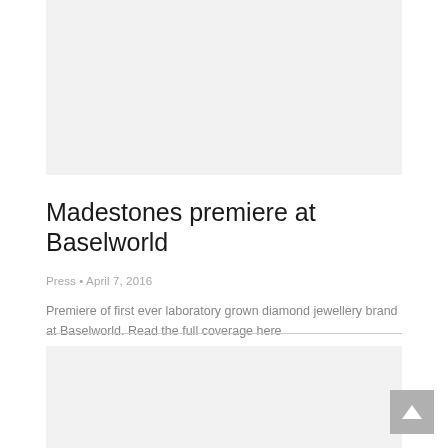Madestones premiere at Baselworld
Press · April 7, 2016
Premiere of first ever laboratory grown diamond jewellery brand at Baselworld. Read the full coverage here
Details ▶